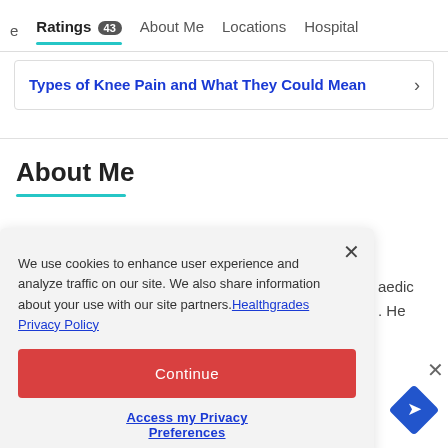Ratings 43  About Me  Locations  Hospital
Types of Knee Pain and What They Could Mean
About Me
We use cookies to enhance user experience and analyze traffic on our site. We also share information about your use with our site partners. Healthgrades Privacy Policy
Continue
Access my Privacy Preferences
aedic He
Specialties